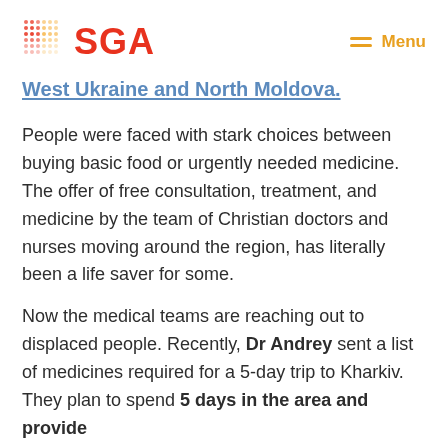SGA | Menu
West Ukraine and North Moldova.
People were faced with stark choices between buying basic food or urgently needed medicine. The offer of free consultation, treatment, and medicine by the team of Christian doctors and nurses moving around the region, has literally been a life saver for some.
Now the medical teams are reaching out to displaced people. Recently, Dr Andrey sent a list of medicines required for a 5-day trip to Kharkiv. They plan to spend 5 days in the area and provide